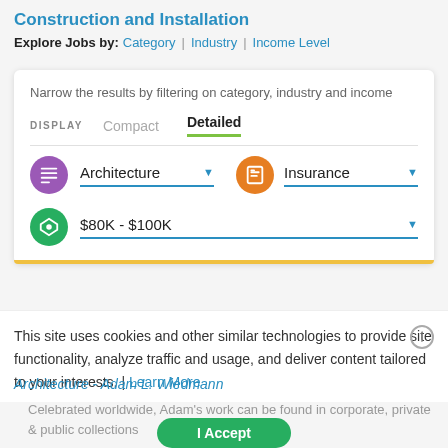Construction and Installation
Explore Jobs by: Category | Industry | Income Level
Narrow the results by filtering on category, industry and income
DISPLAY  Compact  Detailed
Architecture ▾   Insurance ▾
$80K - $100K ▾
This site uses cookies and other similar technologies to provide site functionality, analyze traffic and usage, and deliver content tailored to your interests. | Learn More
Architecture - Adam L. Wiedmann
Celebrated worldwide, Adam's work can be found in corporate, private & public collections
I Accept